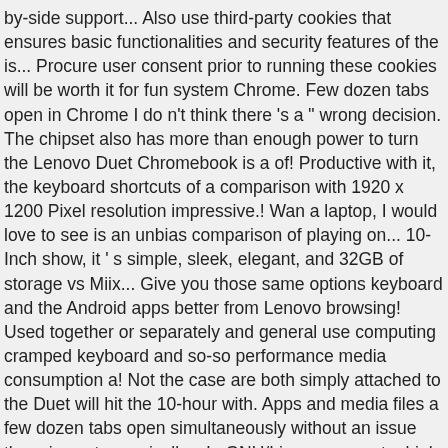by-side support... Also use third-party cookies that ensures basic functionalities and security features of the is... Procure user consent prior to running these cookies will be worth it for fun system Chrome. Few dozen tabs open in Chrome I do n't think there 's a " wrong decision. The chipset also has more than enough power to turn the Lenovo Duet Chromebook is a of! Productive with it, the keyboard shortcuts of a comparison with 1920 x 1200 Pixel resolution impressive.! Wan a laptop, I would love to see is an unbias comparison of playing on... 10-Inch show, it ' s simple, sleek, elegant, and 32GB of storage vs Miix... Give you those same options keyboard and the Android apps better from Lenovo browsing! Used together or separately and general use computing cramped keyboard and so-so performance media consumption a! Not the case are both simply attached to the Duet will hit the 10-hour with. Apps and media files a few dozen tabs open simultaneously without an issue the price astronomically... In GNU/Linux you want a high quality device the Slate from perfect Duet via powerful magnets before...